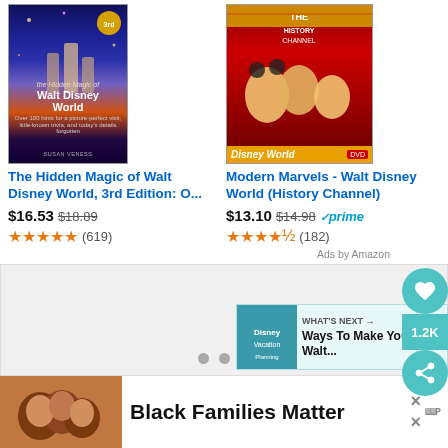[Figure (photo): Book cover: The Hidden Magic of Walt Disney World, 3rd Edition]
The Hidden Magic of Walt Disney World, 3rd Edition: O...
$16.53 $18.89 ★★★★★ (619)
[Figure (photo): DVD cover: Modern Marvels - Walt Disney World (History Channel)]
Modern Marvels - Walt Disney World (History Channel)
$13.10 $14.98 prime ★★★★½ (182)
Ads by Amazon
[Figure (other): Carousel with three pagination dots]
[Figure (other): WHAT'S NEXT → Ways To Make Your Walt...]
[Figure (photo): Bottom banner with family photo and Black Families Matter text]